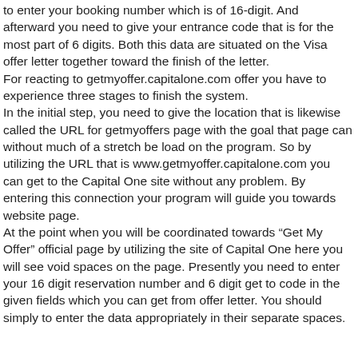to enter your booking number which is of 16-digit. And afterward you need to give your entrance code that is for the most part of 6 digits. Both this data are situated on the Visa offer letter together toward the finish of the letter.
For reacting to getmyoffer.capitalone.com offer you have to experience three stages to finish the system.
In the initial step, you need to give the location that is likewise called the URL for getmyoffers page with the goal that page can without much of a stretch be load on the program. So by utilizing the URL that is www.getmyoffer.capitalone.com you can get to the Capital One site without any problem. By entering this connection your program will guide you towards website page.
At the point when you will be coordinated towards “Get My Offer” official page by utilizing the site of Capital One here you will see void spaces on the page. Presently you need to enter your 16 digit reservation number and 6 digit get to code in the given fields which you can get from offer letter. You should simply to enter the data appropriately in their separate spaces.